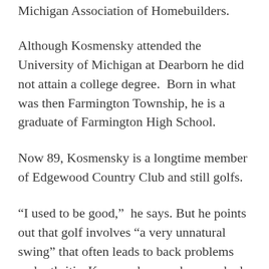Michigan Association of Homebuilders.
Although Kosmensky attended the University of Michigan at Dearborn he did not attain a college degree.  Born in what was then Farmington Township, he is a graduate of Farmington High School.
Now 89, Kosmensky is a longtime member of Edgewood Country Club and still golfs.
“I used to be good,”  he says. But he points out that golf involves “a very unnatural swing” that often leads to back problems and arthritis. Kosmensky says he once had a handicap in the single digits.
Kosmensky laments that the 14th Congressional District is so heavily